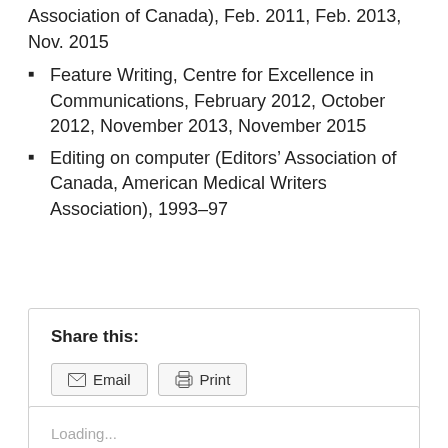Association of Canada), Feb. 2011, Feb. 2013, Nov. 2015
Feature Writing, Centre for Excellence in Communications, February 2012, October 2012, November 2013, November 2015
Editing on computer (Editors’ Association of Canada, American Medical Writers Association), 1993–97
Share this:
Email
Print
Loading...